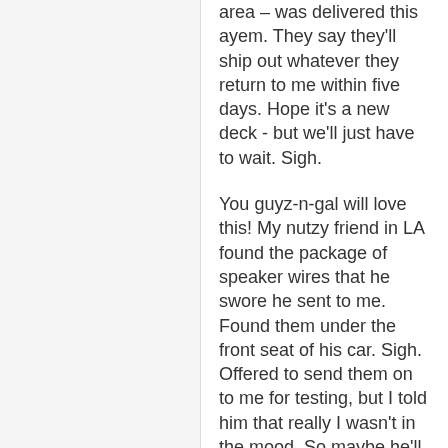area – was delivered this ayem. They say they'll ship out whatever they return to me within five days. Hope it's a new deck - but we'll just have to wait. Sigh.
You guyz-n-gal will love this! My nutzy friend in LA found the package of speaker wires that he swore he sent to me. Found them under the front seat of his car. Sigh. Offered to send them on to me for testing, but I told him that really I wasn't in the mood. So maybe he'll just keep them. In his car? Where they do a lot of good! (sigh)